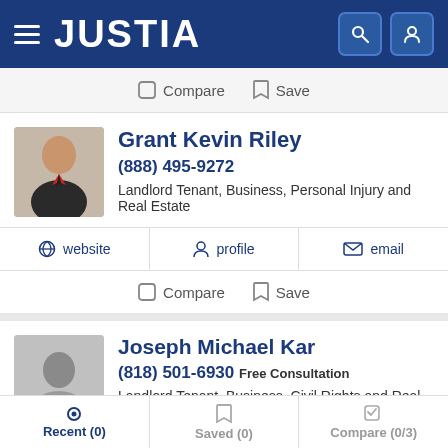JUSTIA
Compare  Save
Grant Kevin Riley
(888) 495-9272
Landlord Tenant, Business, Personal Injury and Real Estate
website  profile  email
Compare  Save
Joseph Michael Kar
(818) 501-6930 Free Consultation
Landlord Tenant, Business, Civil Rights and Real Estate
Recent (0)  Saved (0)  Compare (0/3)